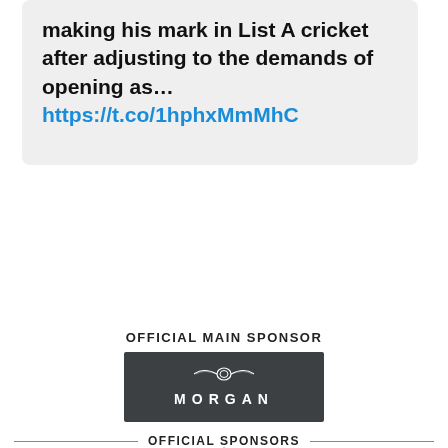Taylor Gornall is delighted to be making his mark in List A cricket after adjusting to the demands of opening as… https://t.co/1hphxMmMhC
OFFICIAL MAIN SPONSOR
[Figure (logo): Morgan Motor Company logo — white wings and wordmark 'MORGAN' on dark grey/charcoal background]
OFFICIAL SPONSORS
[Figure (logo): A-plan insurance logo — red triangle 'A' with 'a-plan' text below in red]